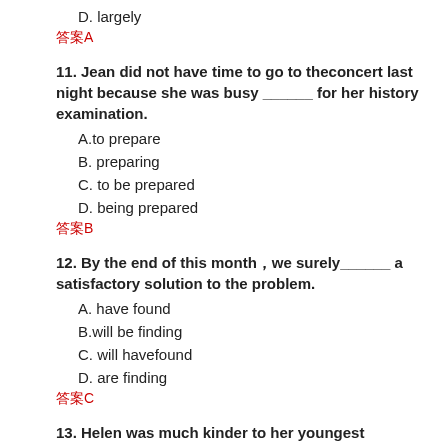D. largely
答案A
11. Jean did not have time to go to theconcert last night because she was busy ______ for her history examination.
A.to prepare
B. preparing
C. to be prepared
D. being prepared
答案B
12. By the end of this month，we surely______ a satisfactory solution to the problem.
A. have found
B.will be finding
C. will havefound
D. are finding
答案C
13. Helen was much kinder to her youngest childthan she was to the others，　　　 of course，